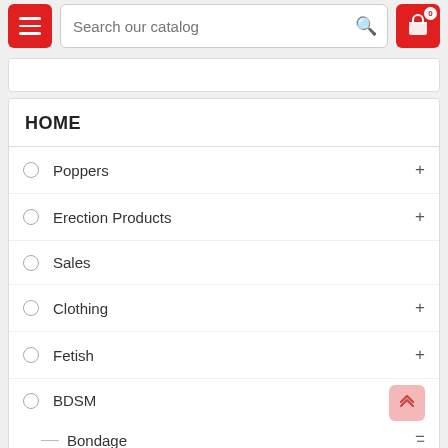[Figure (screenshot): Navigation bar with hamburger menu button (red), search bar reading 'Search our catalog', and cart icon (red) with badge showing 0]
HOME
Poppers
Erection Products
Sales
Clothing
Fetish
BDSM
Bondage
Collars
Wrist cuffs